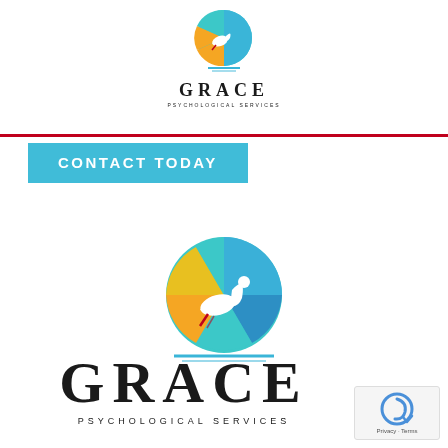[Figure (logo): Grace Psychological Services small logo: colorful circle with swan and leaf motif above text GRACE PSYCHOLOGICAL SERVICES]
[Figure (other): Cyan/teal rectangle button with text CONTACT TODAY]
[Figure (logo): Grace Psychological Services large logo: colorful circle with swan and leaf motif, teal/blue/gold/orange colors]
GRACE PSYCHOLOGICAL SERVICES
[Figure (other): reCAPTCHA widget with Privacy Terms text]